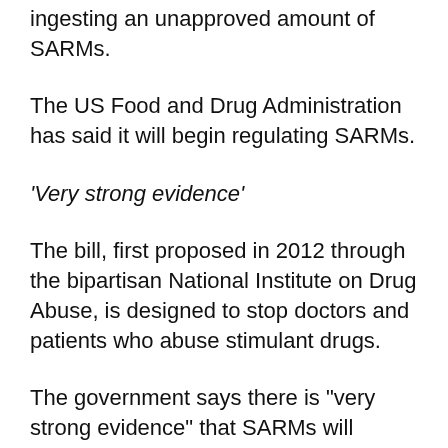ingesting an unapproved amount of SARMs.
The US Food and Drug Administration has said it will begin regulating SARMs.
'Very strong evidence'
The bill, first proposed in 2012 through the bipartisan National Institute on Drug Abuse, is designed to stop doctors and patients who abuse stimulant drugs.
The government says there is "very strong evidence" that SARMs will increase cardiovascular disease, stroke and respiratory problems.
The National Institute on Drug Abuse says the bill will help reduce addiction and increase health care access.
"If you want a little relaxation, I encourage